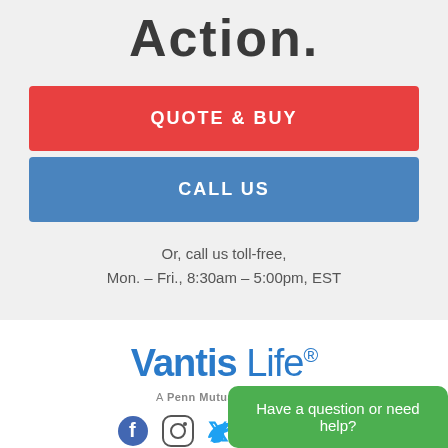Action.
QUOTE & BUY
CALL US
Or, call us toll-free,
Mon. – Fri., 8:30am – 5:00pm, EST
[Figure (logo): Vantis Life logo - A Penn Mutual Company]
[Figure (infographic): Social media icons: Facebook, Instagram, Twitter, LinkedIn, YouTube]
Company
Have a question or need help?